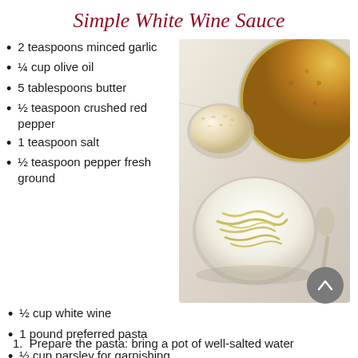Simple White Wine Sauce
2 teaspoons minced garlic
¼ cup olive oil
5 tablespoons butter
½ teaspoon crushed red pepper
1 teaspoon salt
½ teaspoon pepper fresh ground
[Figure (photo): Overhead photo of white wine sauce in a bowl with pasta and parmesan cheese on a marble surface]
½ cup white wine
1 pound preferred pasta
½ cup parsley for garnishing
½ cup parmesan fresh grated
1. Prepare the pasta: bring a pot of well-salted water